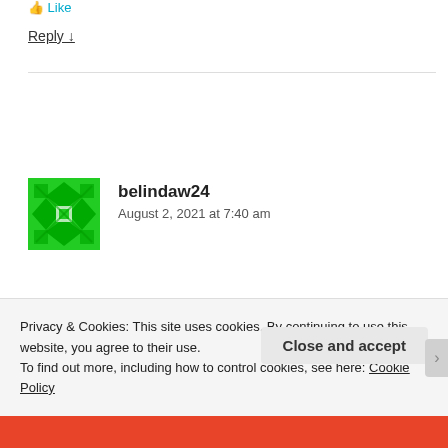Like
Reply ↓
[Figure (illustration): Green pixel/geometric avatar icon for user belindaw24]
belindaw24
August 2, 2021 at 7:40 am
Privacy & Cookies: This site uses cookies. By continuing to use this website, you agree to their use.
To find out more, including how to control cookies, see here: Cookie Policy
Close and accept